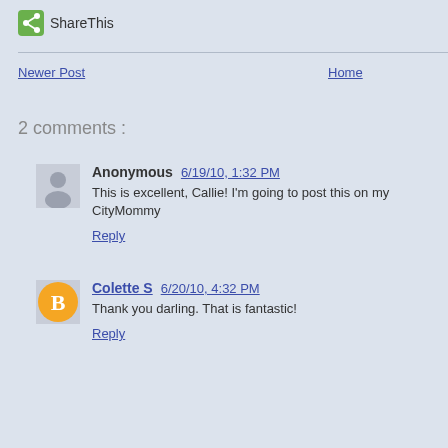[Figure (logo): ShareThis green share icon button with text 'ShareThis']
Newer Post
Home
2 comments :
Anonymous  6/19/10, 1:32 PM
This is excellent, Callie! I'm going to post this on my CityMommy
Reply
Colette S  6/20/10, 4:32 PM
Thank you darling. That is fantastic!
Reply